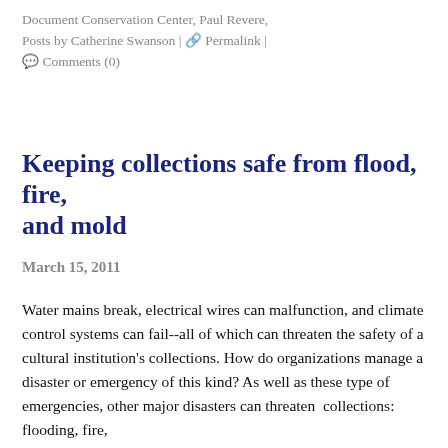Document Conservation Center, Paul Revere, Posts by Catherine Swanson | 🔗 Permalink | 💬 Comments (0)
Keeping collections safe from flood, fire, and mold
March 15, 2011
Water mains break, electrical wires can malfunction, and climate control systems can fail--all of which can threaten the safety of a cultural institution's collections. How do organizations manage a disaster or emergency of this kind? As well as these type of emergencies, other major disasters can threaten collections: flooding, fire,